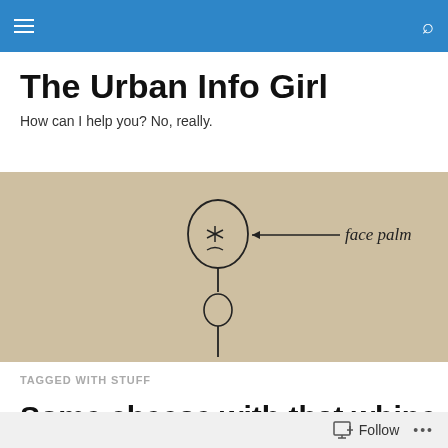Navigation bar with menu and search icons
The Urban Info Girl
How can I help you? No, really.
[Figure (illustration): Hand-drawn stick figure with an asterisk for a face, labeled with an arrow pointing to it reading 'face palm']
TAGGED WITH STUFF
Some cheese with that whine
Follow  ...